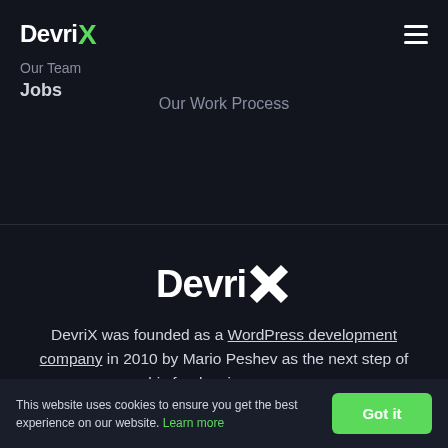[Figure (logo): DevriX logo with green X mark in top navigation bar]
Our Team
Jobs
Our Work Process
[Figure (logo): DevriX large white logo with white X mark in center of lower section]
DevriX was founded as a WordPress development company in 2010 by Mario Peshev as the next step of his freelancing career.
This website uses cookies to ensure you get the best experience on our website. Learn more
Got it